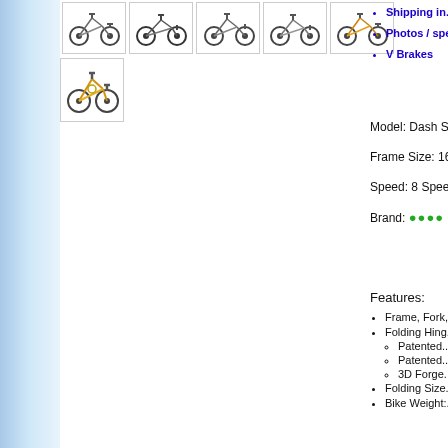[Figure (photo): Row of 5 folding bicycle thumbnail images at top of page]
[Figure (photo): Single folding bicycle thumbnail (yellow bike) in second row]
Shipping in...
Photos / spe...
V Brakes
Model: Dash SR...
Frame Size: 16"
Speed: 8 Speed...
Brand: [Solo logo]
Features:
Frame, Fork,...
Folding Hing...
Patented...
Patented...
3D Forge...
Folding Size...
Bike Weight:...